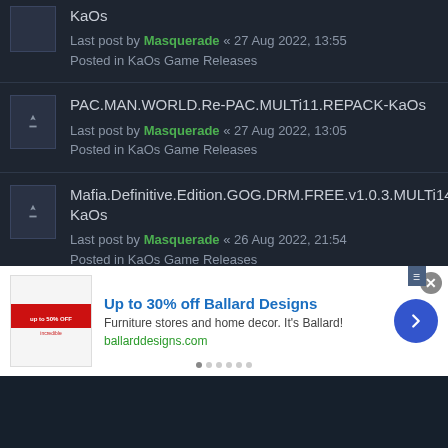KaOs
Last post by Masquerade « 27 Aug 2022, 13:55
Posted in KaOs Game Releases
PAC.MAN.WORLD.Re-PAC.MULTi11.REPACK-KaOs
Last post by Masquerade « 27 Aug 2022, 13:05
Posted in KaOs Game Releases
Mafia.Definitive.Edition.GOG.DRM.FREE.v1.0.3.MULTi14.REPACK-KaOs
Last post by Masquerade « 26 Aug 2022, 21:54
Posted in KaOs Game Releases
SD.GUNDAM.BATTLE.ALLIANCE.Deluxe.Edition.Build.9218373.MULTi12.REPACK-
[Figure (screenshot): Advertisement banner: Up to 30% off Ballard Designs. Furniture stores and home decor. It's Ballard! ballarddesigns.com]